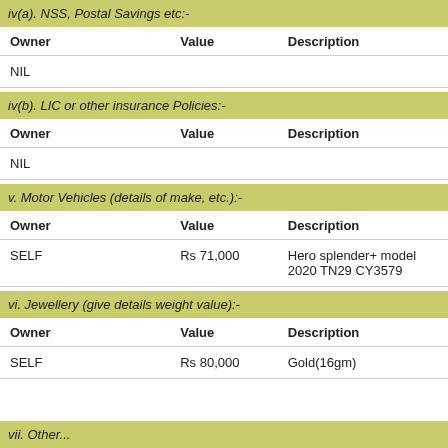iv(a). NSS, Postal Savings etc:-
| Owner | Value | Description |
| --- | --- | --- |
| NIL |  |  |
iv(b). LIC or other insurance Policies:-
| Owner | Value | Description |
| --- | --- | --- |
| NIL |  |  |
v. Motor Vehicles (details of make, etc.):-
| Owner | Value | Description |
| --- | --- | --- |
| SELF | Rs 71,000 | Hero splender+ model 2020 TN29 CY3579 |
vi. Jewellery (give details weight value):-
| Owner | Value | Description |
| --- | --- | --- |
| SELF | Rs 80,000 | Gold(16gm) |
vii. Other...